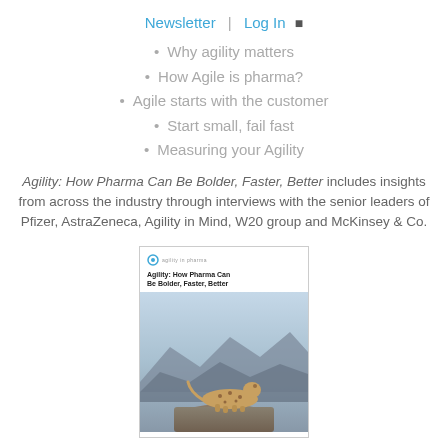Newsletter | Log In
Why agility matters
How Agile is pharma?
Agile starts with the customer
Start small, fail fast
Measuring your Agility
Agility: How Pharma Can Be Bolder, Faster, Better includes insights from across the industry through interviews with the senior leaders of Pfizer, AstraZeneca, Agility in Mind, W20 group and McKinsey & Co.
[Figure (photo): Book cover of 'Agility: How Pharma Can Be Bolder, Faster, Better' showing a cheetah on a rocky outcrop with mountains in the background]